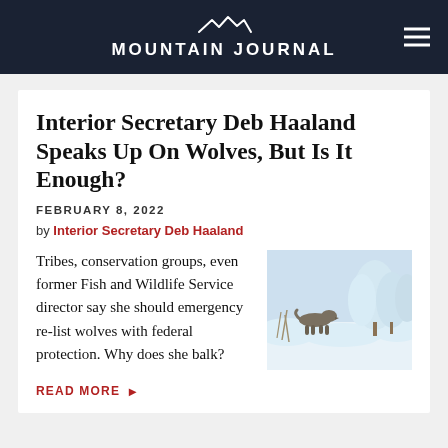Mountain Journal
Interior Secretary Deb Haaland Speaks Up On Wolves, But Is It Enough?
FEBRUARY 8, 2022
by Interior Secretary Deb Haaland
Tribes, conservation groups, even former Fish and Wildlife Service director say she should emergency re-list wolves with federal protection. Why does she balk?
[Figure (photo): A wolf walking through a snowy winter landscape with snow-covered trees in the background]
READ MORE ▶